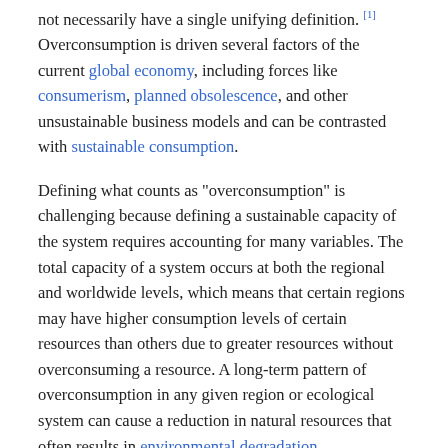not necessarily have a single unifying definition. [1] Overconsumption is driven several factors of the current global economy, including forces like consumerism, planned obsolescence, and other unsustainable business models and can be contrasted with sustainable consumption.
Defining what counts as "overconsumption" is challenging because defining a sustainable capacity of the system requires accounting for many variables. The total capacity of a system occurs at both the regional and worldwide levels, which means that certain regions may have higher consumption levels of certain resources than others due to greater resources without overconsuming a resource. A long-term pattern of overconsumption in any given region or ecological system can cause a reduction in natural resources that often results in environmental degradation.